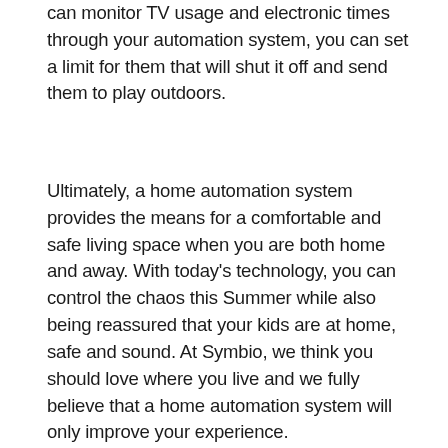can monitor TV usage and electronic times through your automation system, you can set a limit for them that will shut it off and send them to play outdoors.
Ultimately, a home automation system provides the means for a comfortable and safe living space when you are both home and away. With today's technology, you can control the chaos this Summer while also being reassured that your kids are at home, safe and sound. At Symbio, we think you should love where you live and we fully believe that a home automation system will only improve your experience.